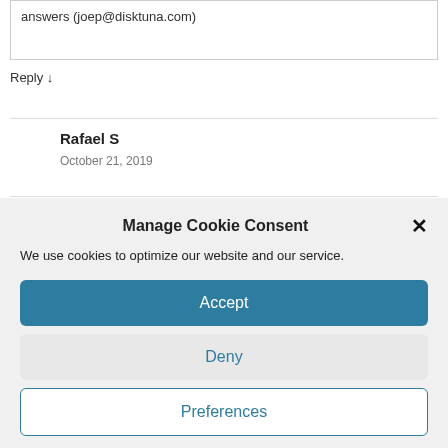answers (joep@disktuna.com)
Reply ↓
Rafael S
October 21, 2019
Manage Cookie Consent
We use cookies to optimize our website and our service.
Accept
Deny
Preferences